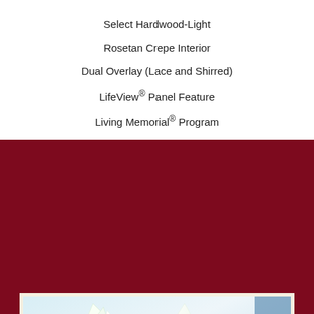Select Hardwood-Light
Rosetan Crepe Interior
Dual Overlay (Lace and Shirred)
LifeView® Panel Feature
Living Memorial® Program
[Figure (photo): Close-up photograph of white lily flowers with green stems and dark-tipped stamens against a light blue background, displayed within a dark red (maroon) bordered frame.]